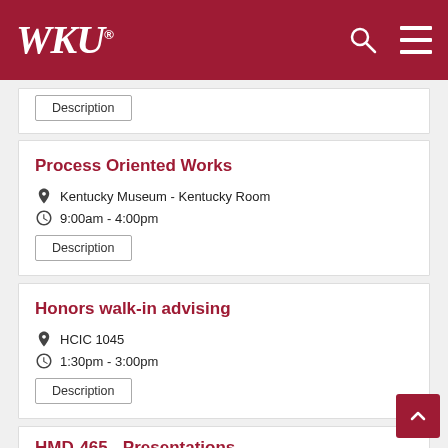WKU
Description
Process Oriented Works
Kentucky Museum - Kentucky Room
9:00am - 4:00pm
Description
Honors walk-in advising
HCIC 1045
1:30pm - 3:00pm
Description
HMD-465 - Presentations